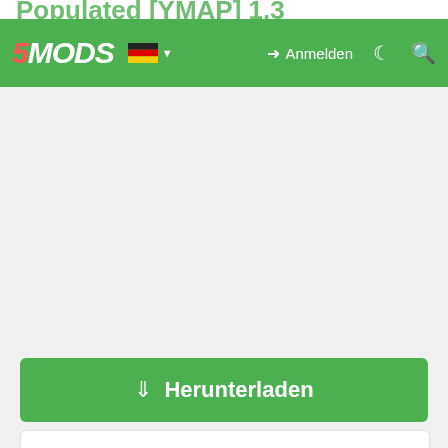Populated [YMAP] 1.3
[Figure (screenshot): 5MODS website navigation bar with logo, German flag language selector, Anmelden (login) button, dark mode toggle, and search icon on green background]
[Figure (other): Large blank/white content area (advertisement or image placeholder)]
[Figure (other): Green Herunterladen (Download) button with download icon]
[Figure (other): White Teilen (Share) button with share icon in teal]
[Figure (other): Author card showing Team Vasquez with colorful avatar thumbnail]